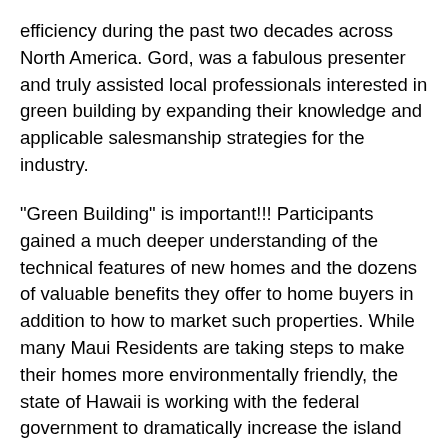efficiency during the past two decades across North America. Gord, was a fabulous presenter and truly assisted local professionals interested in green building by expanding their knowledge and applicable salesmanship strategies for the industry.
"Green Building" is important!!! Participants gained a much deeper understanding of the technical features of new homes and the dozens of valuable benefits they offer to home buyers in addition to how to market such properties. While many Maui Residents are taking steps to make their homes more environmentally friendly, the state of Hawaii is working with the federal government to dramatically increase the island chain's use of renewable energy resources. Planning for more environmentally friendly development helps preserve our islands, creates jobs, and makes monthly living expenses more affordable for locals.